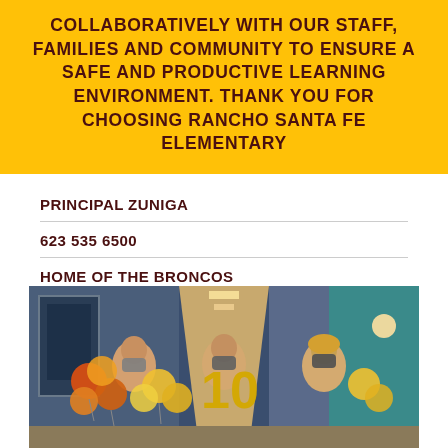COLLABORATIVELY WITH OUR STAFF, FAMILIES AND COMMUNITY TO ENSURE A SAFE AND PRODUCTIVE LEARNING ENVIRONMENT. THANK YOU FOR CHOOSING RANCHO SANTA FE ELEMENTARY
PRINCIPAL ZUNIGA
623 535 6500
HOME OF THE BRONCOS
[Figure (photo): Three people wearing masks standing in a school hallway holding orange and gold balloons and a gold number balloon.]